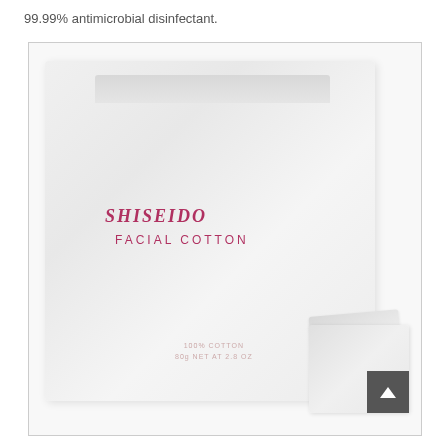99.99% antimicrobial disinfectant.
[Figure (photo): Shiseido Facial Cotton product package — a large white rectangular package with 'SHISEIDO' in red italic serif font and 'FACIAL COTTON' in red tracking caps below it, with '100% COTTON 80g NET AT 2.8 OZ' text near the bottom. A small individual cotton pad is shown in the lower right corner. A dark grey scroll-to-top button with an upward chevron is in the bottom right of the image.]